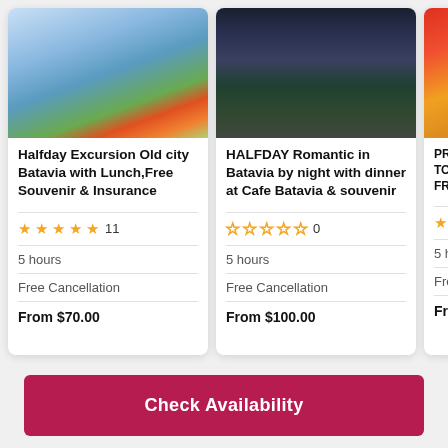[Figure (photo): Photo of Batavia waterfront with colorful buildings, water canal, and orange flowers]
Halfday Excursion Old city Batavia with Lunch,Free Souvenir & Insurance
★★★★★ 11
5 hours
Free Cancellation
From $70.00
[Figure (photo): Photo of Cafe Batavia restaurant exterior at night with teal awning and warm lighting]
HALFDAY Romantic in Batavia by night with dinner at Cafe Batavia & souvenir
☆☆☆☆☆ 0
5 hours
Free Cancellation
From $100.00
[Figure (photo): Partial photo of another tour showing colorful decorations (partially cropped)]
PRIVA... TOW... FREE...
★★ ...
5 hou...
Free...
From...
Check Availability